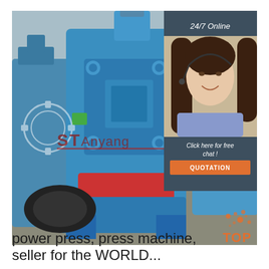[Figure (photo): Blue industrial power press / forging press machine in a factory setting. Multiple blue heavy machines visible. Company watermark 'ST Anyang' overlaid in red/maroon text with gear logo. An inset panel on the right shows a customer service representative with headset and '24/7 Online' text in dark gray, 'Click here for free chat!' text, and an orange QUOTATION button. Bottom right has an orange 'TOP' badge with decorative dots.]
power press, press machine,
seller for the WORLD...